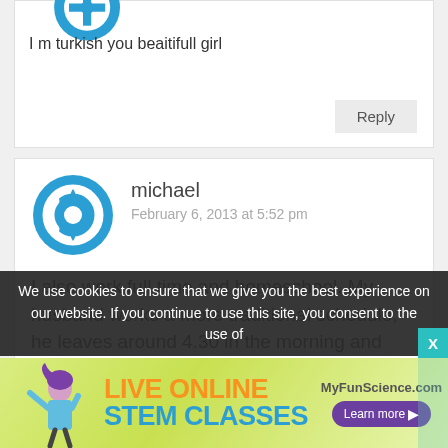I m turkish you beaitifull girl
Reply
michael
February 6, 2013 at 5:52 pm
I also work full time and homeschool. My husband works a more traditional schedule, he leaves around 4.30 in the morning and returns at 3:00 PM Monday through Friday.
We use cookies to ensure that we give you the best experience on our website. If you continue to use this site, you consent to the use of
[Figure (infographic): Advertisement for MyFunScience.com: LIVE ONLINE STEM CLASSES with illustrated girl and Learn more button]